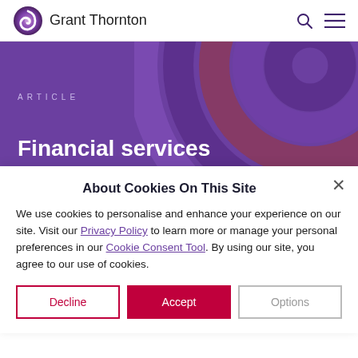Grant Thornton
ARTICLE
Financial services
regulation: 10 things for
About Cookies On This Site
We use cookies to personalise and enhance your experience on our site. Visit our Privacy Policy to learn more or manage your personal preferences in our Cookie Consent Tool. By using our site, you agree to our use of cookies.
Decline
Accept
Options